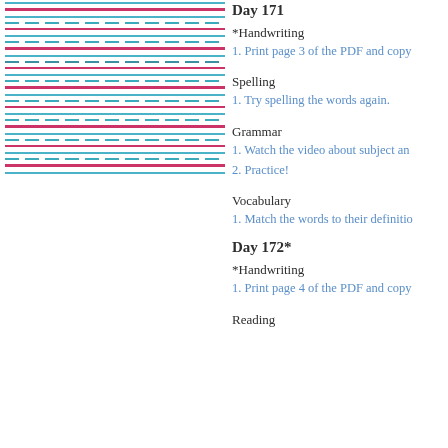[Figure (illustration): Handwriting practice lines: repeating groups of solid blue line, dashed teal line, and solid pink baseline line forming writing rule sets]
Day 171
*Handwriting
1. Print page 3 of the PDF and copy
Spelling
1. Try spelling the words again.
Grammar
1. Watch the video about subject an
2. Practice!
Vocabulary
1. Match the words to their definitio
Day 172*
*Handwriting
1. Print page 4 of the PDF and copy
Reading